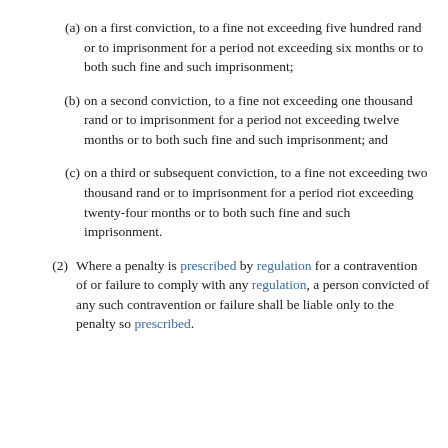(a) on a first conviction, to a fine not exceeding five hundred rand or to imprisonment for a period not exceeding six months or to both such fine and such imprisonment;
(b) on a second conviction, to a fine not exceeding one thousand rand or to imprisonment for a period not exceeding twelve months or to both such fine and such imprisonment; and
(c) on a third or subsequent conviction, to a fine not exceeding two thousand rand or to imprisonment for a period riot exceeding twenty-four months or to both such fine and such imprisonment.
(2) Where a penalty is prescribed by regulation for a contravention of or failure to comply with any regulation, a person convicted of any such contravention or failure shall be liable only to the penalty so prescribed.